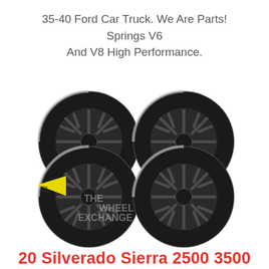35-40 Ford Car Truck. We Are Parts! Springs V6 And V8 High Performance.
[Figure (photo): Four black truck wheels/tires arranged in a 2x2 grid, with a yellow tag and 'THE WHEEL EXCHANGE' watermark overlay]
20 Silverado Sierra 2500 3500